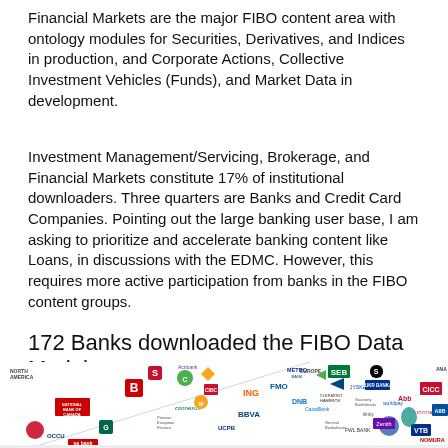Financial Markets are the major FIBO content area with ontology modules for Securities, Derivatives, and Indices in production, and Corporate Actions, Collective Investment Vehicles (Funds), and Market Data in development.
Investment Management/Servicing, Brokerage, and Financial Markets constitute 17% of institutional downloaders. Three quarters are Banks and Credit Card Companies. Pointing out the large banking user base, I am asking to prioritize and accelerate banking content like Loans, in discussions with the EDMC. However, this requires more active participation from banks in the FIBO content groups.
172 Banks downloaded the FIBO Data Model
[Figure (infographic): Collage of bank logos from North America, Europe, and Asia including Scotiabank, CIBC, Metro Bank, SEB, ING, FMO, DNB, CaixaBank, BBVA, UCPB, Citi, VTB, YukreBank, worldpay, AIB, AIIB, CICC, ANA, Toyota Financial and many more, arranged in a triangular/diagonal pattern indicating geographic distribution.]